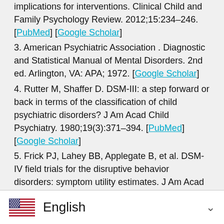implications for interventions. Clinical Child and Family Psychology Review. 2012;15:234–246. [PubMed] [Google Scholar]
3. American Psychiatric Association . Diagnostic and Statistical Manual of Mental Disorders. 2nd ed. Arlington, VA: APA; 1972. [Google Scholar]
4. Rutter M, Shaffer D. DSM-III: a step forward or back in terms of the classification of child psychiatric disorders? J Am Acad Child Psychiatry. 1980;19(3):371–394. [PubMed] [Google Scholar]
5. Frick PJ, Lahey BB, Applegate B, et al. DSM-IV field trials for the disruptive behavior disorders: symptom utility estimates. J Am Acad Child Adolesc Psychiatry. 199... [PubMed] [Google Scholar]
6. Rowe R, Ma...